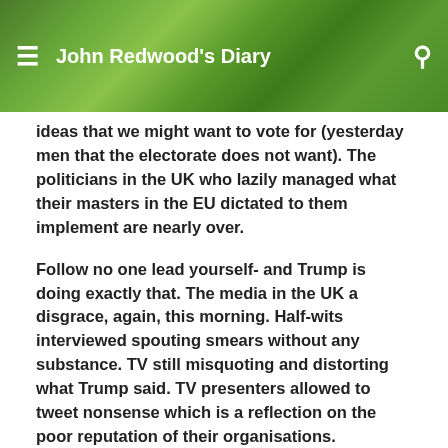John Redwood's Diary
ideas that we might want to vote for (yesterday men that the electorate does not want). The politicians in the UK who lazily managed what their masters in the EU dictated to them implement are nearly over.
Follow no one lead yourself- and Trump is doing exactly that. The media in the UK a disgrace, again, this morning. Half-wits interviewed spouting smears without any substance. TV still misquoting and distorting what Trump said. TV presenters allowed to tweet nonsense which is a reflection on the poor reputation of their organisations. Particularly the BBC. When will the penny drop the public want to be heard and want their views represented,not the continual liberal/left wing that is being imposed upon us. Too much PC clap trap not enough action.